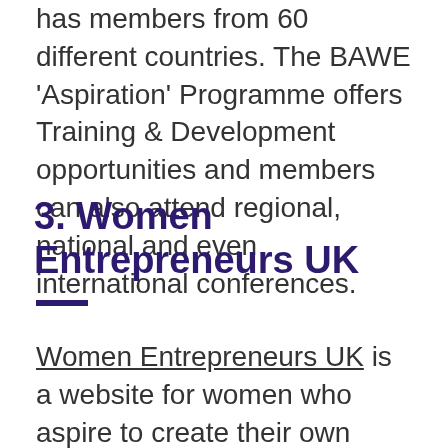has members from 60 different countries. The BAWE 'Aspiration' Programme offers Training & Development opportunities and members can also attend regional, national and even international conferences.
3. Women Entrepreneurs UK
Women Entrepreneurs UK is a website for women who aspire to create their own business. As well as offering honest advice on the many challenges facing businesswomen, the site also provides you with tips on how to